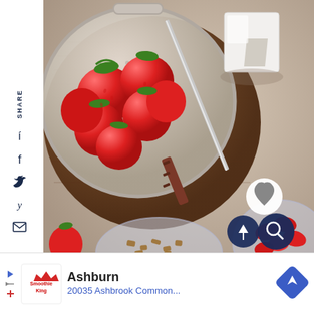[Figure (screenshot): Website screenshot showing a food/recipe photo with social sharing sidebar (SHARE, Pinterest, Facebook, Twitter, Yummly, Email icons) on the left. Main photo shows fresh strawberries in a metal colander on a wooden cutting board, with a knife, white ceramic container, and bowls with granola and sliced strawberries. Overlaid UI buttons: heart/favorite, up-arrow, and search icon.]
[Figure (other): Advertisement banner at bottom: Smoothie King logo, location 'Ashburn', address '20035 Ashbrook Common...', blue navigation/directions icon on right, with play/skip ad icons on left.]